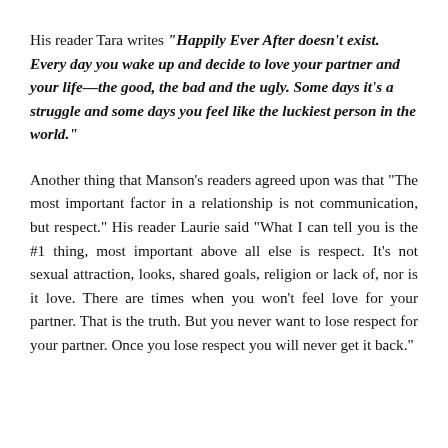His reader Tara writes "Happily Ever After doesn't exist. Every day you wake up and decide to love your partner and your life—the good, the bad and the ugly. Some days it's a struggle and some days you feel like the luckiest person in the world."
Another thing that Manson's readers agreed upon was that "The most important factor in a relationship is not communication, but respect." His reader Laurie said "What I can tell you is the #1 thing, most important above all else is respect. It's not sexual attraction, looks, shared goals, religion or lack of, nor is it love. There are times when you won't feel love for your partner. That is the truth. But you never want to lose respect for your partner. Once you lose respect you will never get it back."